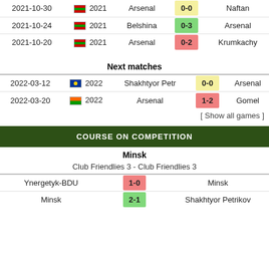| Date | Competition | Home | Score | Away |
| --- | --- | --- | --- | --- |
| 2021-10-30 | 2021 | Arsenal | 0-0 | Naftan |
| 2021-10-24 | 2021 | Belshina | 0-3 | Arsenal |
| 2021-10-20 | 2021 | Arsenal | 0-2 | Krumkachy |
Next matches
| Date | Competition | Home | Score | Away |
| --- | --- | --- | --- | --- |
| 2022-03-12 | 2022 | Shakhtyor Petr | 0-0 | Arsenal |
| 2022-03-20 | 2022 | Arsenal | 1-2 | Gomel |
[ Show all games ]
COURSE ON COMPETITION
Minsk
Club Friendlies 3 - Club Friendlies 3
| Home | Score | Away |
| --- | --- | --- |
| Ynergetyk-BDU | 1-0 | Minsk |
| Minsk | 2-1 | Shakhtyor Petrikov |